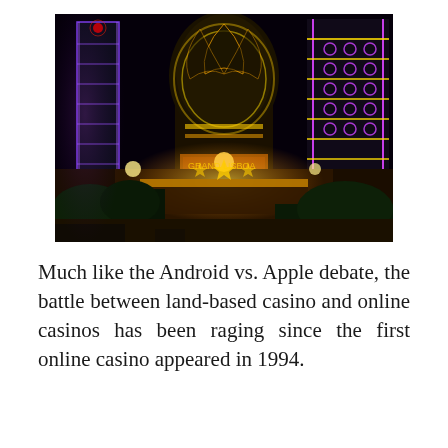[Figure (photo): Nighttime photograph of Macau casino buildings illuminated with colorful neon lights — purple, yellow, and blue — including tall modern towers and an ornate casino entrance with golden decorations and greenery in the foreground.]
Much like the Android vs. Apple debate, the battle between land-based casino and online casinos has been raging since the first online casino appeared in 1994.